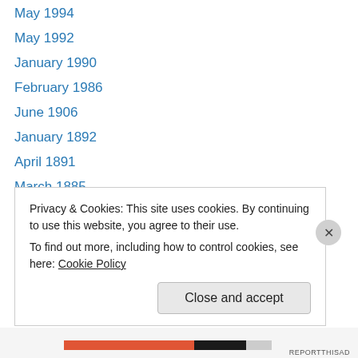May 1994
May 1992
January 1990
February 1986
June 1906
January 1892
April 1891
March 1885
January 1878
April 1835
February 1787
June 1766
February 1756
October 1663
Privacy & Cookies: This site uses cookies. By continuing to use this website, you agree to their use.
To find out more, including how to control cookies, see here: Cookie Policy
Close and accept